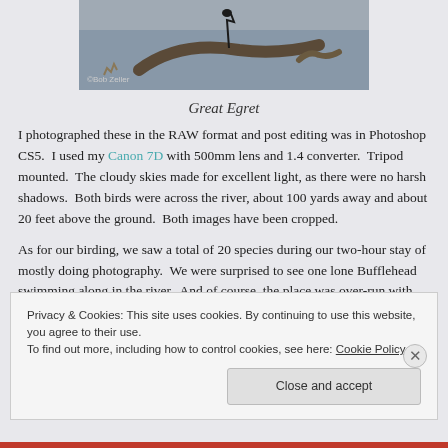[Figure (photo): Photograph of a Great Egret on a branch, with copyright watermark '©Bob Zeller']
Great Egret
I photographed these in the RAW format and post editing was in Photoshop CS5.  I used my Canon 7D with 500mm lens and 1.4 converter.  Tripod mounted.  The cloudy skies made for excellent light, as there were no harsh shadows.  Both birds were across the river, about 100 yards away and about 20 feet above the ground.  Both images have been cropped.
As for our birding, we saw a total of 20 species during our two-hour stay of mostly doing photography.  We were surprised to see one lone Bufflehead swimming along in the river.  And of course, the place was over-run with A
Privacy & Cookies: This site uses cookies. By continuing to use this website, you agree to their use.
To find out more, including how to control cookies, see here: Cookie Policy
Close and accept